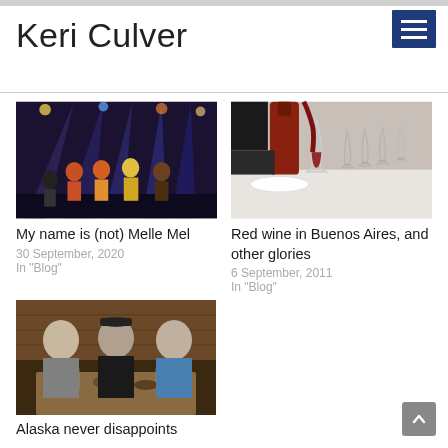Keri Culver
[Figure (photo): Performance photo: group of performers on stage with blue stage lighting]
My name is (not) Melle Mel
30 September, 2020
In "Blog"
[Figure (photo): Wine being poured into a glass at a dinner table setting in Buenos Aires]
Red wine in Buenos Aires, and other glories
6 September, 2011
In "Blog"
[Figure (photo): Three people sitting at a restaurant table in Alaska]
Alaska never disappoints